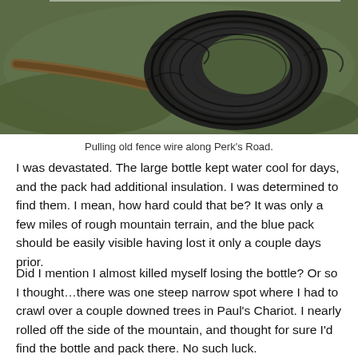[Figure (photo): Photograph of a large coil of old black fence wire on grassy ground along Perk's Road, with trees visible in the background.]
Pulling old fence wire along Perk's Road.
I was devastated. The large bottle kept water cool for days, and the pack had additional insulation. I was determined to find them. I mean, how hard could that be? It was only a few miles of rough mountain terrain, and the blue pack should be easily visible having lost it only a couple days prior.
Did I mention I almost killed myself losing the bottle? Or so I thought…there was one steep narrow spot where I had to crawl over a couple downed trees in Paul's Chariot. I nearly rolled off the side of the mountain, and thought for sure I'd find the bottle and pack there. No such luck.